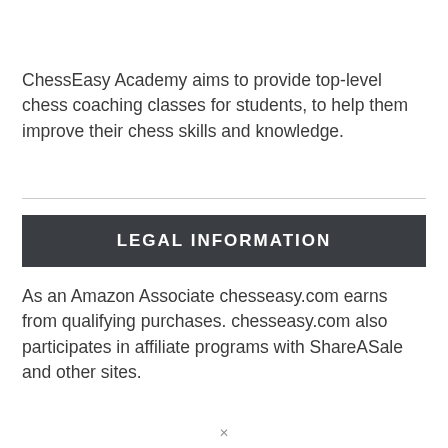ChessEasy Academy aims to provide top-level chess coaching classes for students, to help them improve their chess skills and knowledge.
LEGAL INFORMATION
As an Amazon Associate chesseasy.com earns from qualifying purchases. chesseasy.com also participates in affiliate programs with ShareASale and other sites.